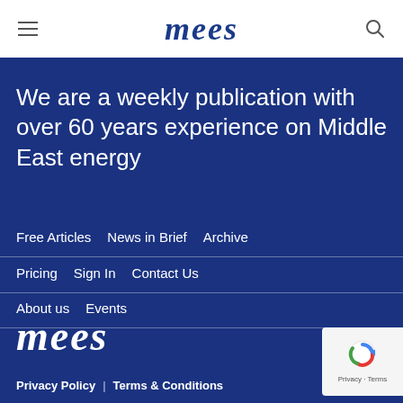mees
We are a weekly publication with over 60 years experience on Middle East energy
Free Articles   News in Brief   Archive
Pricing   Sign In   Contact Us
About us   Events
[Figure (logo): mees logo in white italic text on blue background]
[Figure (other): reCAPTCHA badge with privacy and terms links]
Privacy Policy  |  Terms & Conditions